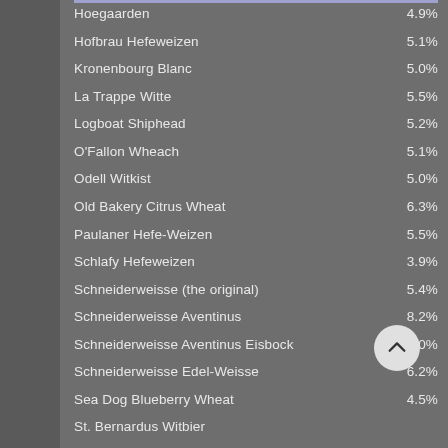Hoegaarden  4.9%
Hofbrau Hefeweizen  5.1%
Kronenbourg Blanc  5.0%
La Trappe Witte  5.5%
Logboat Shiphead  5.2%
O'Fallon Wheach  5.1%
Odell Witkist  5.0%
Old Bakery Citrus Wheat  6.3%
Paulaner Hefe-Weizen  5.5%
Schlafy Hefeweizen  3.9%
Schneiderweisse (the original)  5.4%
Schneiderweisse Aventinus  8.2%
Schneiderweisse Aventinus Eisbock  12.0%
Schneiderweisse Edel-Weisse  6.2%
Sea Dog Blueberry Wheat  4.5%
St. Bernardus Witbier  5.%
Unibroue Blanche de Chambly
Urban Chestnut Schnickelfritz  4.%
Wasatch Apricot Hefeweizen  4.0%
Weihenstephaner Dunkel  5.3%
Weihenstephaner Hefe Weissbier  5.4%
Weihenstephaner Kristal Weissbier  5.4%
Weihenstephaner Vitus  7.7%
Wittekerke  5.0%